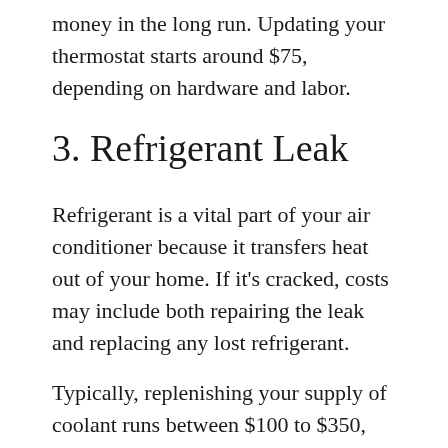money in the long run. Updating your thermostat starts around $75, depending on hardware and labor.
3. Refrigerant Leak
Refrigerant is a vital part of your air conditioner because it transfers heat out of your home. If it's cracked, costs may include both repairing the leak and replacing any lost refrigerant.
Typically, replenishing your supply of coolant runs between $100 to $350, but this number may be higher if your air conditioner is larger or uses R-22. More popularly known as Freon, R-22 is no longer manufactured due to its effect on the